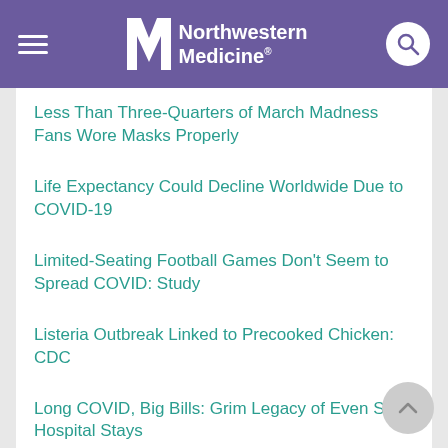Northwestern Medicine
Less Than Three-Quarters of March Madness Fans Wore Masks Properly
Life Expectancy Could Decline Worldwide Due to COVID-19
Limited-Seating Football Games Don't Seem to Spread COVID: Study
Listeria Outbreak Linked to Precooked Chicken: CDC
Long COVID, Big Bills: Grim Legacy of Even Short Hospital Stays
Longer, Worse COVID Leaves Stronger Antibodies: Study
Long-Haul COVID in Kids Typically Ends Within 3 Months: Study